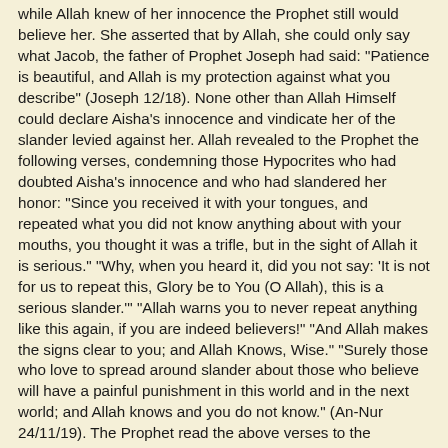while Allah knew of her innocence the Prophet still would believe her. She asserted that by Allah, she could only say what Jacob, the father of Prophet Joseph had said: "Patience is beautiful, and Allah is my protection against what you describe" (Joseph 12/18). None other than Allah Himself could declare Aisha's innocence and vindicate her of the slander levied against her. Allah revealed to the Prophet the following verses, condemning those Hypocrites who had doubted Aisha's innocence and who had slandered her honor: "Since you received it with your tongues, and repeated what you did not know anything about with your mouths, you thought it was a trifle, but in the sight of Allah it is serious." "Why, when you heard it, did you not say: 'It is not for us to repeat this, Glory be to You (O Allah), this is a serious slander.'" "Allah warns you to never repeat anything like this again, if you are indeed believers!" "And Allah makes the signs clear to you; and Allah Knows, Wise." "Surely those who love to spread around slander about those who believe will have a painful punishment in this world and in the next world; and Allah knows and you do not know." (An-Nur 24/11/19). The Prophet read the above verses to the Muslims in al-masjid al-Nabawi. Hassan ibn Thabit Mistah ibn Athamah and Hamna bint Jahsh...